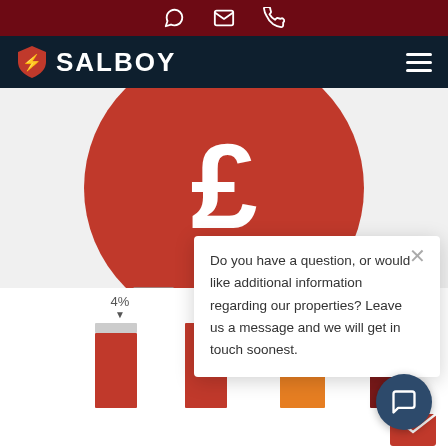Contact icons: WhatsApp, Email, Phone
[Figure (logo): Salboy logo with shield icon on dark navy navigation bar]
[Figure (infographic): Red circle with pound/dollar sign symbol and large number 7.3 below]
[Figure (bar-chart): Bar chart showing percentage values: 4%, 5%, and additional bars in red, orange, yellow, and dark red colors]
Do you have a question, or would like additional information regarding our properties? Leave us a message and we will get in touch soonest.